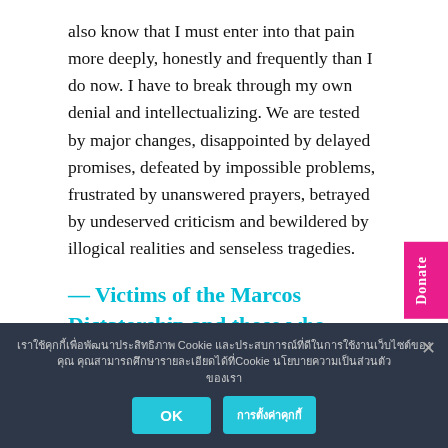also know that I must enter into that pain more deeply, honestly and frequently than I do now. I have to break through my own denial and intellectualizing. We are tested by major changes, disappointed by delayed promises, defeated by impossible problems, frustrated by unanswered prayers, betrayed by undeserved criticism and bewildered by illogical realities and senseless tragedies.
— Victims of the Marcos Dictatorship and those who benefited from it
The past six months of the Philippine election period is such a travesty of democracy. We found ourselves in the company of
[Figure (other): Pink 'Donate' button on right side of page, rotated vertically]
เราใช้คุกกี้เพื่อพัฒนาประสิทธิภาพ Cookie และประสบการณ์ที่ดีCookie ในการใช้งานเว็บไซต์ของคุณ คุณสามารถศึกษารายละเอียดได้ที่
OK   การตั้งค่าคุกกี้